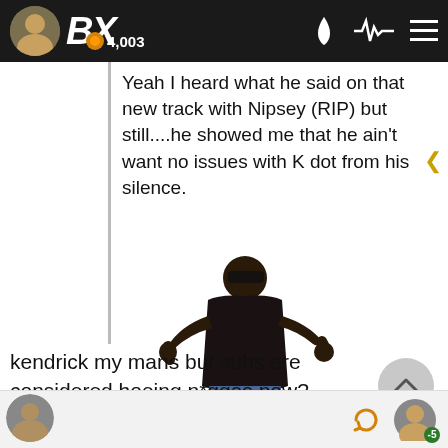BX | 4,003
Yeah I heard what he said on that new track with Nipsey (RIP) but still....he showed me that he ain't want no issues with K dot from his silence.
[Figure (photo): Person wearing black shirt and sunglasses with arms outstretched]
kendrick my mans but subs are considered hoeing n*ggas now?